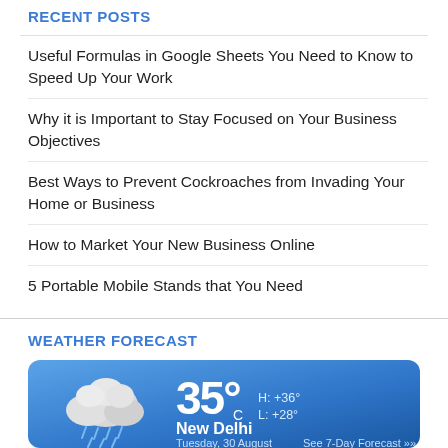RECENT POSTS
Useful Formulas in Google Sheets You Need to Know to Speed Up Your Work
Why it is Important to Stay Focused on Your Business Objectives
Best Ways to Prevent Cockroaches from Invading Your Home or Business
How to Market Your New Business Online
5 Portable Mobile Stands that You Need
WEATHER FORECAST
[Figure (infographic): Weather widget showing 35°C, H: +36°, L: +28°, New Delhi, Tuesday, 30 August, See 7-Day Forecast, with a rainy cloud icon on a blue gradient background]